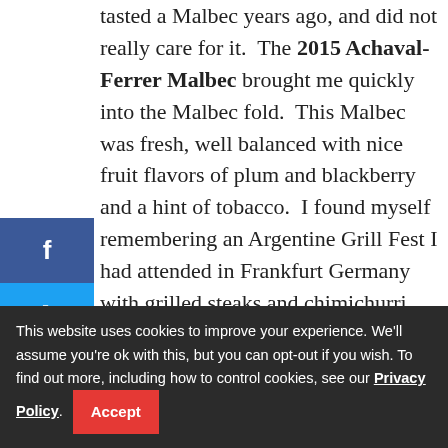tasted a Malbec years ago, and did not really care for it. The 2015 Achaval-Ferrer Malbec brought me quickly into the Malbec fold. This Malbec was fresh, well balanced with nice fruit flavors of plum and blackberry and a hint of tobacco. I found myself remembering an Argentine Grill Fest I had attended in Frankfurt Germany with grilled steaks and chimichurri sauce (a classic Argentine specialty). The next day I was grilling up bison flank steak and chopping up a chimichurri sauce. The 2015 Achaval-Ferrer Cabernet Sauvignon had notable tannins, nice acidity, black cherry, blackberries and red currants on
39 SHARES
This website uses cookies to improve your experience. We'll assume you're ok with this, but you can opt-out if you wish. To find out more, including how to control cookies, see our Privacy Policy. Accept